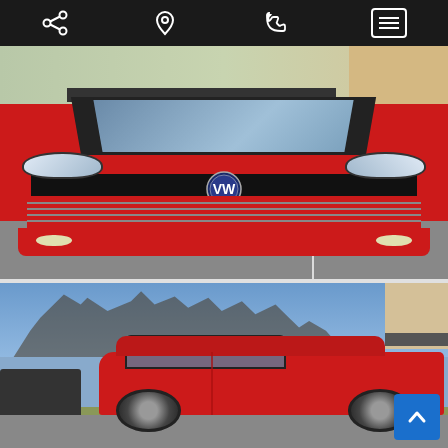Navigation bar with share, location, phone, and menu icons
[Figure (photo): Front view of a red Volkswagen Golf hatchback parked in a lot, with brick building in background and bushes. Clear sky, daytime.]
[Figure (photo): Side/rear quarter view of a red Volkswagen Golf hatchback in a parking lot, bare trees and blue sky visible in background. Scroll-up button overlay in bottom right corner.]